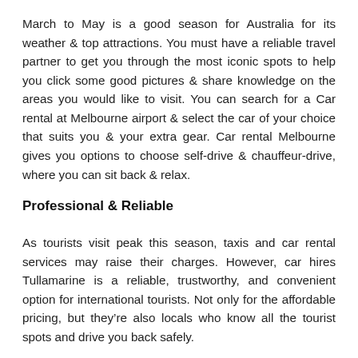March to May is a good season for Australia for its weather & top attractions. You must have a reliable travel partner to get you through the most iconic spots to help you click some good pictures & share knowledge on the areas you would like to visit. You can search for a Car rental at Melbourne airport & select the car of your choice that suits you & your extra gear. Car rental Melbourne gives you options to choose self-drive & chauffeur-drive, where you can sit back & relax.
Professional & Reliable
As tourists visit peak this season, taxis and car rental services may raise their charges. However, car hires Tullamarine is a reliable, trustworthy, and convenient option for international tourists. Not only for the affordable pricing, but they're also locals who know all the tourist spots and drive you back safely.